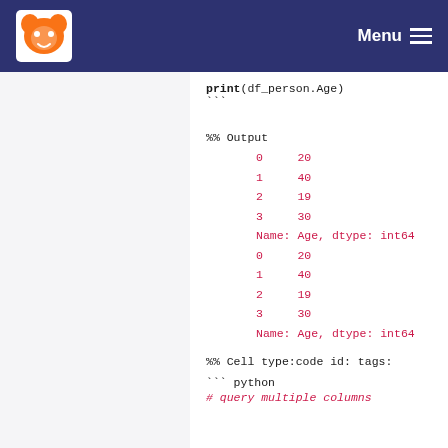Menu
print(df_person.Age)
```
%% Output
0     20
1     40
2     19
3     30
Name: Age, dtype: int64
0     20
1     40
2     19
3     30
Name: Age, dtype: int64
%% Cell type:code id: tags:
``` python
# query multiple columns